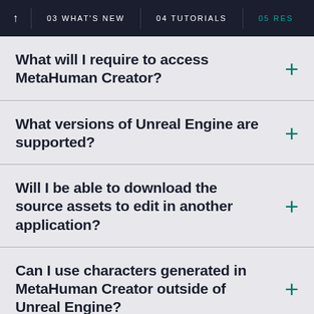↑  03 WHAT'S NEW  04 TUTORIALS  05 RES
What will I require to access MetaHuman Creator?
What versions of Unreal Engine are supported?
Will I be able to download the source assets to edit in another application?
Can I use characters generated in MetaHuman Creator outside of Unreal Engine?